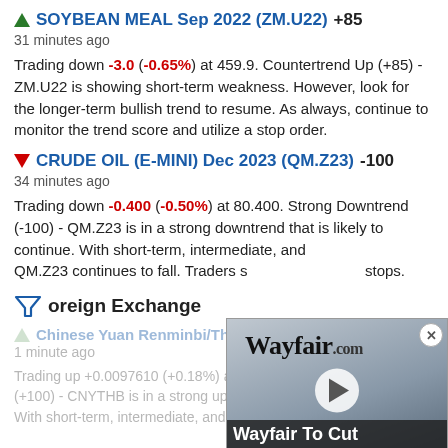▲ SOYBEAN MEAL Sep 2022 (ZM.U22) +85
31 minutes ago
Trading down -3.0 (-0.65%) at 459.9. Countertrend Up (+85) - ZM.U22 is showing short-term weakness. However, look for the longer-term bullish trend to resume. As always, continue to monitor the trend score and utilize a stop order.
▼ CRUDE OIL (E-MINI) Dec 2023 (QM.Z23) -100
34 minutes ago
Trading down -0.400 (-0.50%) at 80.400. Strong Downtrend (-100) - QM.Z23 is in a strong downtrend that is likely to continue. With short-term, intermediate, and long-term bearish signals, QM.Z23 continues to fall. Traders should use trailing stops.
Foreign Exchange
▲ Chinese Yuan Renminbi/Thai Baht (CNYTHB) +100
1 minute ago
Trading up +0.0097610 (+0.18%) at 5.3060223. Strong Uptrend (+100) - CNYTHB is in a strong uptrend that is likely to continue. With short-term, intermediate, and long-term bullish signals...